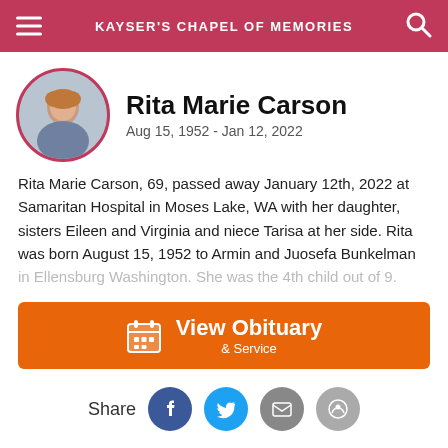KAYSER'S CHAPEL OF MEMORIES
Rita Marie Carson
Aug 15, 1952 - Jan 12, 2022
Rita Marie Carson, 69, passed away January 12th, 2022 at Samaritan Hospital in Moses Lake, WA with her daughter, sisters Eileen and Virginia and niece Tarisa at her side. Rita was born August 15, 1952 to Armin and Juosefa Bunkelman in Ellensburg Washington. She was the 4th child out of 9.
View Obituary & Service
Share